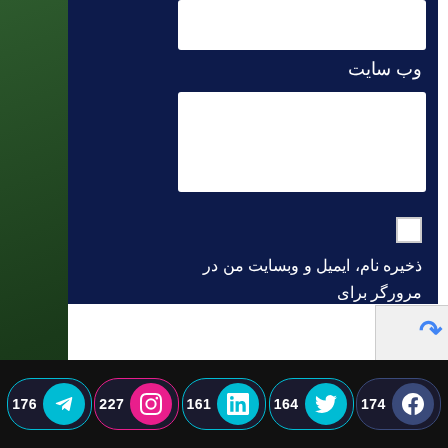وب سایت
ذخیره نام، ایمیل و وبسایت من در مرورگر برای زمانی که دوباره دیدگاهی می‌نویسم.
فرستادن دیدگاه
176 Telegram | 227 Instagram | 161 LinkedIn | 164 Twitter | 174 Facebook